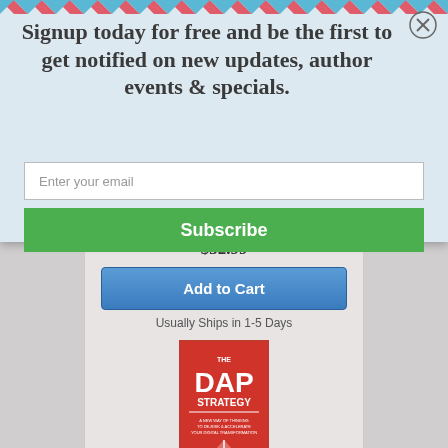[Figure (screenshot): Background page with gray content card showing $32.99 price, Add to Cart button, Usually Ships in 1-5 Days text, and a book cover for 'The DAP Strategy']
Signup today for free and be the first to get notified on new updates, author events & specials.
Enter your email
Subscribe
$32.99
Add to Cart
Usually Ships in 1-5 Days